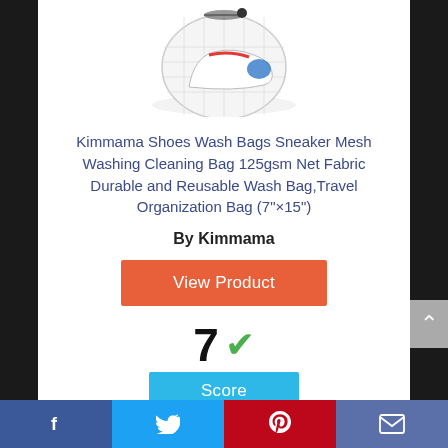[Figure (photo): Product photo of Kimmama shoe wash bag — a mesh laundry bag with a sneaker inside, partially visible at top of card]
Kimmama Shoes Wash Bags Sneaker Mesh Washing Cleaning Bag 125gsm Net Fabric Durable and Reusable Wash Bag,Travel Organization Bag (7"×15")
By Kimmama
View Product
7 ✓ Score